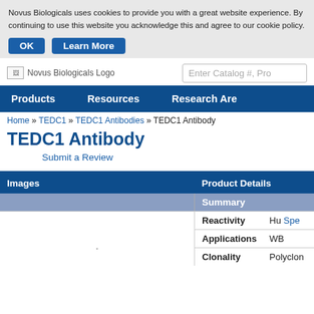Novus Biologicals uses cookies to provide you with a great website experience. By continuing to use this website you acknowledge this and agree to our cookie policy.
OK   Learn More
[Figure (logo): Novus Biologicals Logo]
Enter Catalog #, Pro
Products   Resources   Research Are
Home » TEDC1 » TEDC1 Antibodies » TEDC1 Antibody
TEDC1 Antibody
Submit a Review
| Images | Product Details |
| --- | --- |
|  | Summary |
|  | Reactivity: Hu Spe... |
|  | Applications: WB |
|  | Clonality: Polyclon... |